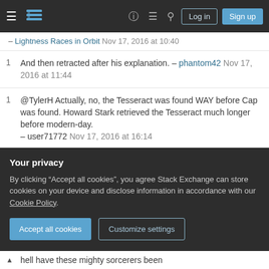Stack Exchange navigation bar with hamburger menu, logo, help, chat, search icons, Log in and Sign up buttons
– Lightness Races in Orbit Nov 17, 2016 at 10:40
1 And then retracted after his explanation. – phantom42 Nov 17, 2016 at 11:44
1 @TylerH Actually, no, the Tesseract was found WAY before Cap was found. Howard Stark retrieved the Tesseract much longer before modern-day. – user71772 Nov 17, 2016 at 16:14
Show 7 more comments
3 Answers
Sorted by: Highest score (default)
Your privacy
By clicking "Accept all cookies", you agree Stack Exchange can store cookies on your device and disclose information in accordance with our Cookie Policy.
hell have these mighty sorcerers been